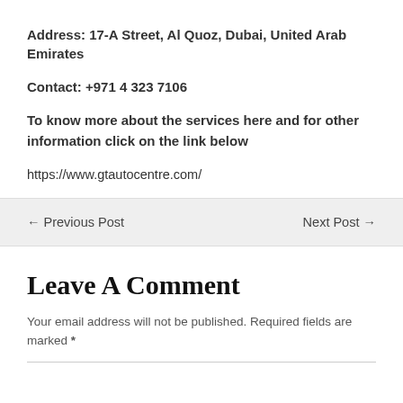Address: 17-A Street, Al Quoz, Dubai, United Arab Emirates
Contact: +971 4 323 7106
To know more about the services here and for other information click on the link below
https://www.gtautocentre.com/
← Previous Post
Next Post →
Leave A Comment
Your email address will not be published. Required fields are marked *